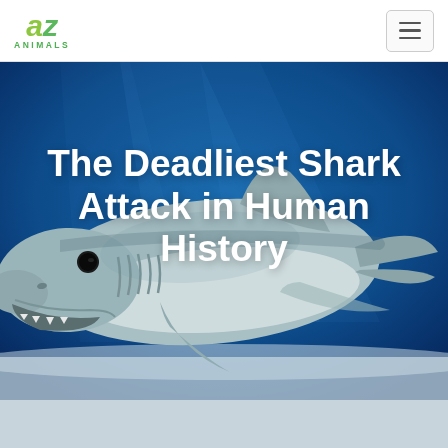AZ Animals
[Figure (photo): Underwater photograph of a shark (bull or tiger shark) swimming, viewed from the front-side angle, with deep blue water in the background and sandy/bright area at the bottom]
The Deadliest Shark Attack in Human History